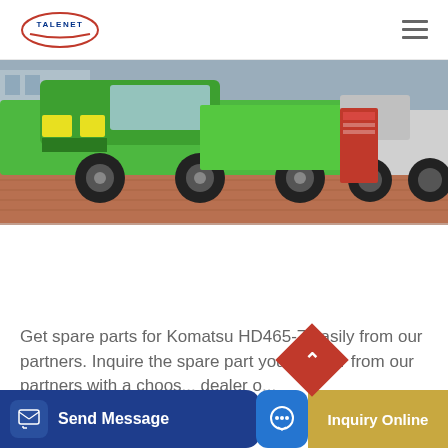TALENET
[Figure (photo): Green and white Komatsu heavy dump truck parked on brick pavement, with a red sign/banner visible in the background. Other trucks visible to the right.]
Get spare parts for Komatsu HD465-7 easily from our partners. Inquire the spare part you look for from our partners with a choos... dealer o...
Send Message | Inquiry Online